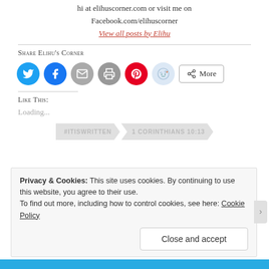hi at elihuscorner.com or visit me on Facebook.com/elihuscorner
View all posts by Elihu
Share Elihu's Corner
[Figure (infographic): Social share buttons: Twitter (blue circle), Facebook (blue circle), Email (gray circle), Print (gray circle), Pinterest (red circle), Reddit (light blue circle), and a More button]
Like This:
Loading...
#ITISWRITTEN   1 CORINTHIANS 10:13
Privacy & Cookies: This site uses cookies. By continuing to use this website, you agree to their use.
To find out more, including how to control cookies, see here: Cookie Policy
Close and accept